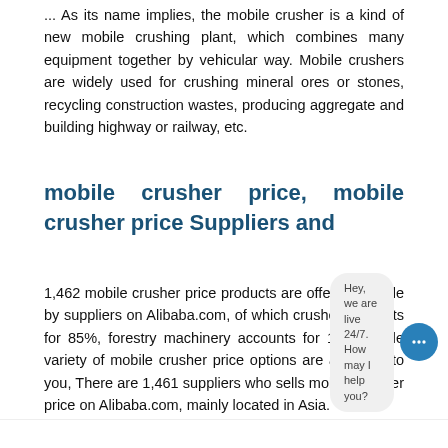... As its name implies, the mobile crusher is a kind of new mobile crushing plant, which combines many equipment together by vehicular way. Mobile crushers are widely used for crushing mineral ores or stones, recycling construction wastes, producing aggregate and building highway or railway, etc.
mobile crusher price, mobile crusher price Suppliers and
1,462 mobile crusher price products are offered for sale by suppliers on Alibaba.com, of which crusher accounts for 85%, forestry machinery accounts for 1%. A wide variety of mobile crusher price options are available to you, There are 1,461 suppliers who sells mobile crusher price on Alibaba.com, mainly located in Asia.